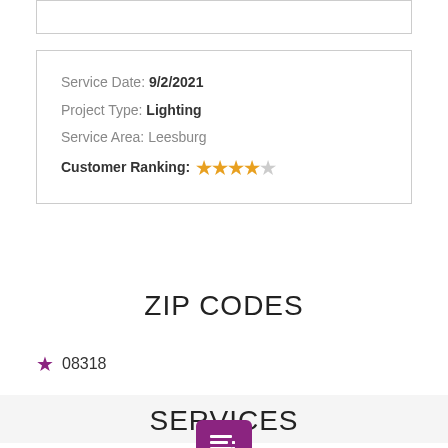Service Date: 9/2/2021
Project Type: Lighting
Service Area: Leesburg
Customer Ranking: ★★★★☆
ZIP CODES
★ 08318
SERVICES
[Figure (illustration): Purple icon showing a list/document symbol]